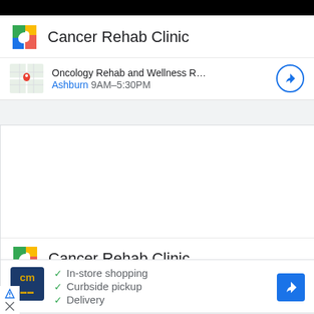[Figure (screenshot): Black navigation bar at top of mobile screen]
[Figure (logo): Cancer Rehab Clinic colorful cube logo]
Cancer Rehab Clinic
[Figure (map): Small map thumbnail with red location pin]
Oncology Rehab and Wellness Res… Ashburn 9AM–5:30PM
[Figure (logo): Cancer Rehab Clinic colorful cube logo (second instance)]
Cancer Rehab Clinic
In-store shopping
Curbside pickup
Delivery
[Figure (logo): CM logo square dark blue with yellow text]